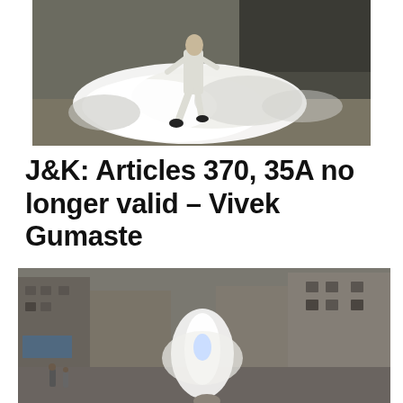[Figure (photo): A person running through thick white smoke/tear gas on a street, wearing white traditional clothing and dark shoes]
J&K: Articles 370, 35A no longer valid – Vivek Gumaste
[Figure (photo): Street scene in what appears to be Kashmir showing buildings, smoke/tear gas in a narrow street, with a few people visible]